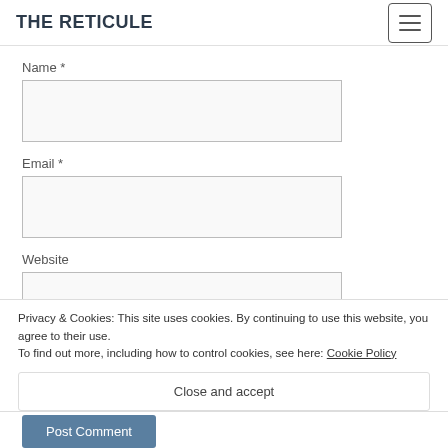THE RETICULE
Name *
Email *
Website
Privacy & Cookies: This site uses cookies. By continuing to use this website, you agree to their use.
To find out more, including how to control cookies, see here: Cookie Policy
Close and accept
Post Comment